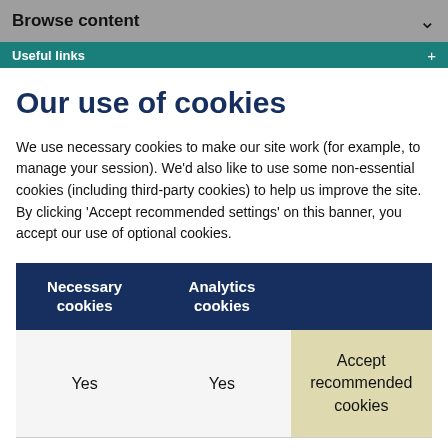Browse content
Useful links
Our use of cookies
We use necessary cookies to make our site work (for example, to manage your session). We'd also like to use some non-essential cookies (including third-party cookies) to help us improve the site. By clicking 'Accept recommended settings' on this banner, you accept our use of optional cookies.
| Necessary cookies | Analytics cookies |  |
| --- | --- | --- |
| Yes | Yes | Accept recommended cookies |